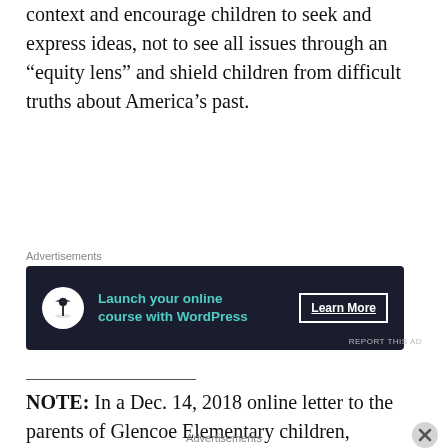context and encourage children to seek and express ideas, not to see all issues through an “equity lens” and shield children from difficult truths about America’s past.
[Figure (screenshot): Advertisement banner: dark navy background with bonsai tree icon, teal text reading 'Launch your online course with WordPress', and a 'Learn More' button]
NOTE: In a Dec. 14, 2018 online letter to the parents of Glencoe Elementary children, Principal Lori Clark said: “PBC is… bel… the… point to… int… the…